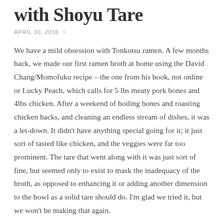with Shoyu Tare
APRIL 30, 2016  ~
We have a mild obsession with Tonkotsu ramen. A few months back, we made our first ramen broth at home using the David Chang/Momofuku recipe – the one from his book, not online or Lucky Peach, which calls for 5 lbs meaty pork bones and 4lbs chicken. After a weekend of boiling bones and roasting chicken backs, and cleaning an endless stream of dishes, it was a let-down. It didn't have anything special going for it; it just sort of tasted like chicken, and the veggies were far too prominent. The tare that went along with it was just sort of fine, but seemed only to exist to mask the inadequacy of the broth, as opposed to enhancing it or adding another dimension to the bowl as a solid tare should do. I'm glad we tried it, but we won't be making that again.